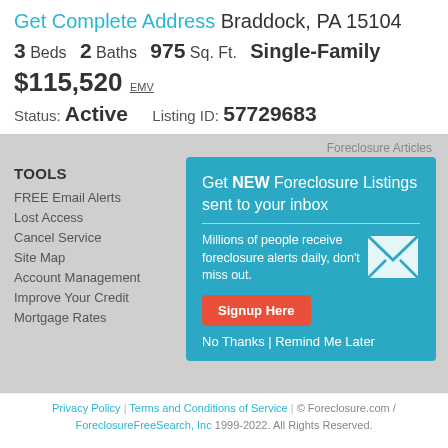Get Complete Address Braddock, PA 15104
3 Beds  2 Baths  975 Sq. Ft.  Single-Family
$115,520 EMV
Status: Active   Listing ID: 57729683
Foreclosure Articles
TOOLS
FREE Email Alerts
Lost Access
Cancel Service
Site Map
Account Management
Improve Your Credit
Mortgage Rates
Get NEW Foreclosure Listings sent to your inbox
Millions of people receive foreclosure alerts daily, don't miss out.
Signup Here
No Thanks | Remind Me Later
Privacy Policy  |  Terms and Conditions of Service  |  © Foreclosure.com / ForeclosureFreeSearch, Inc 1999-2022. All Rights Reserved.